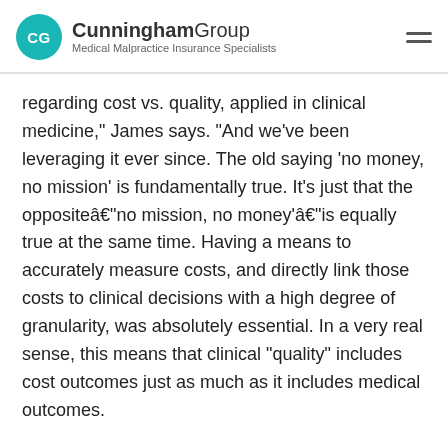CG Cunningham Group Medical Malpractice Insurance Specialists
regarding cost vs. quality, applied in clinical medicine," James says. "And we've been leveraging it ever since. The old saying 'no money, no mission' is fundamentally true. It's just that the oppositeâ€"no mission, no money'â€"is equally true at the same time. Having a means to accurately measure costs, and directly link those costs to clinical decisions with a high degree of granularity, was absolutely essential. In a very real sense, this means that clinical "quality" includes cost outcomes just as much as it includes medical outcomes.
"You'll be hearing a lot more about this in the future, I think," James says. "Some very prominent national